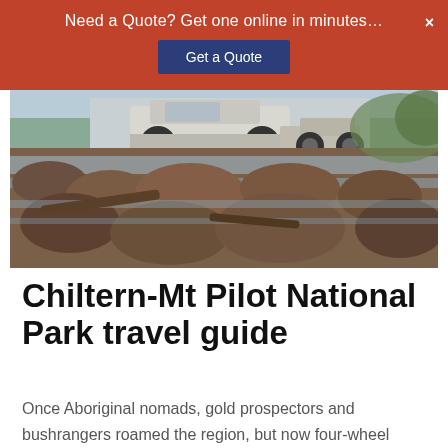Need a Quote? Get one online in minutes…
[Figure (photo): A 4WD vehicle crossing a rocky creek or river crossing in a national park setting, with water flowing over rocks and boulders in the foreground]
Chiltern-Mt Pilot National Park travel guide
Once Aboriginal nomads, gold prospectors and bushrangers roamed the region, but now four-wheel drivers traipse around the wooded hills and valleys of the Chiltern-Mt Pilot National Park. Written by Ron & Viv